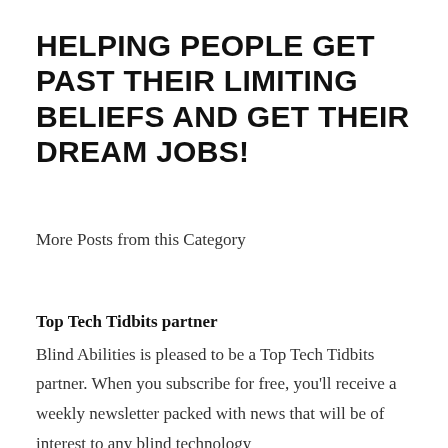HELPING PEOPLE GET PAST THEIR LIMITING BELIEFS AND GET THEIR DREAM JOBS!
More Posts from this Category
Top Tech Tidbits partner
Blind Abilities is pleased to be a Top Tech Tidbits partner. When you subscribe for free, you'll receive a weekly newsletter packed with news that will be of interest to any blind technology